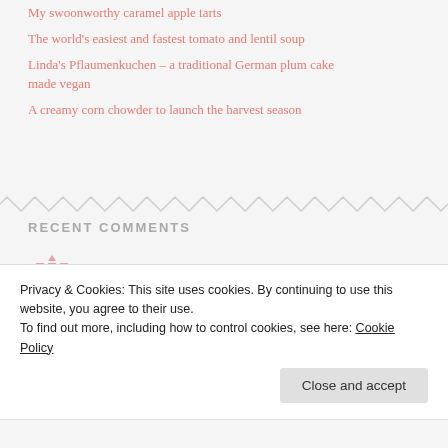My swoonworthy caramel apple tarts
The world's easiest and fastest tomato and lentil soup
Linda's Pflaumenkuchen – a traditional German plum cake made vegan
A creamy corn chowder to launch the harvest season
RECENT COMMENTS
Sybil S Stevenson on The Thug's best cake
Privacy & Cookies: This site uses cookies. By continuing to use this website, you agree to their use.
To find out more, including how to control cookies, see here: Cookie Policy
Close and accept